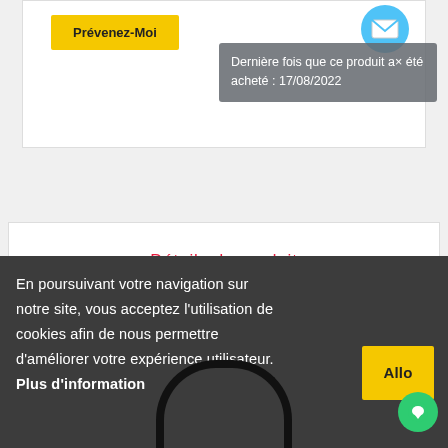[Figure (screenshot): Yellow 'Prévenez-Moi' button on product page with tooltip overlay showing last purchase date and email icon]
Dernière fois que ce produit a été acheté : 17/08/2022
Détails du produit
FAQ
En poursuivant votre navigation sur notre site, vous acceptez l'utilisation de cookies afin de nous permettre d'améliorer votre expérience utilisateur. Plus d'information